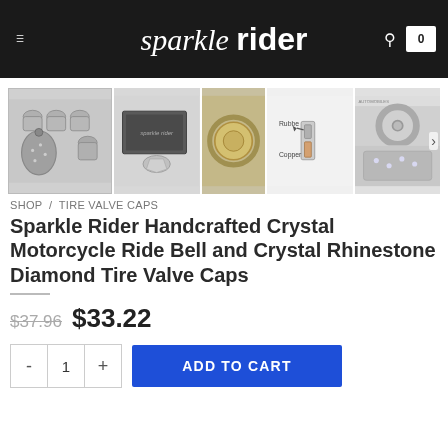sparkle rider
[Figure (photo): Product images: crystal motorcycle bell valve caps set, product box, gold ring, diagram showing rubber and copper components, and close-up of wheel with crystals]
SHOP / TIRE VALVE CAPS
Sparkle Rider Handcrafted Crystal Motorcycle Ride Bell and Crystal Rhinestone Diamond Tire Valve Caps
$37.96  $33.22
- 1 +  ADD TO CART